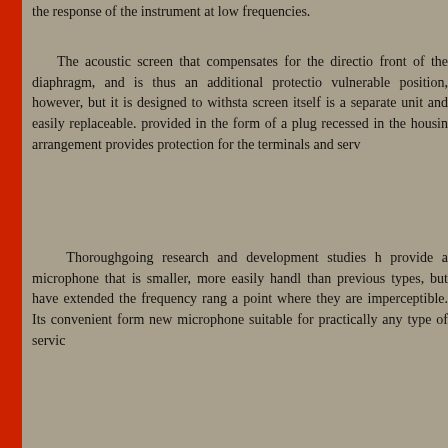the response of the instrument at low frequencies.
The acoustic screen that compensates for the directio... front of the diaphragm, and is thus an additional protectio... vulnerable position, however, but it is designed to withsta... screen itself is a separate unit and easily replaceable. ... provided in the form of a plug recessed in the housin... arrangement provides protection for the terminals and serv...
Thoroughgoing research and development studies h... provide a microphone that is smaller, more easily handl... than previous types, but have extended the frequency rang... a point where they are imperceptible. Its convenient form... new microphone suitable for practically any type of servic...
Reprinted from Bell Laboratories Recor...
All photographs below are by Elli...
Hear the sound of Ellis' 630A voic...